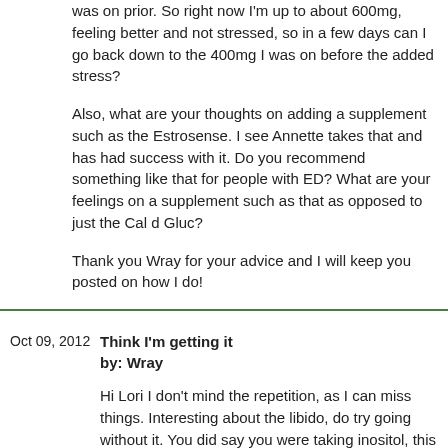was on prior. So right now I'm up to about 600mg, feeling better and not stressed, so in a few days can I go back down to the 400mg I was on before the added stress?
Also, what are your thoughts on adding a supplement such as the Estrosense. I see Annette takes that and has had success with it. Do you recommend something like that for people with ED? What are your feelings on a supplement such as that as opposed to just the Cal d Gluc?
Thank you Wray for your advice and I will keep you posted on how I do!
Think I'm getting it
by: Wray
Hi Lori I don't mind the repetition, as I can miss things. Interesting about the libido, do try going without it. You did say you were taking inositol, this also helps depression. It also raises serotonin levels gently, but I haven't found evidence inositol itself lowers libido. That anxiety page I gave you does have several other nutrients which help